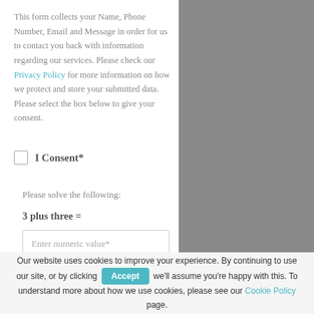This form collects your Name, Phone Number, Email and Message in order for us to contact you back with information regarding our services. Please check our Privacy Policy for more information on how we protect and store your submitted data. Please select the box below to give your consent.
I Consent*
Please solve the following:
3 plus three =
Enter numeric value*
Our website uses cookies to improve your experience. By continuing to use our site, or by clicking Accept we'll assume you're happy with this. To understand more about how we use cookies, please see our Cookie Policy page.